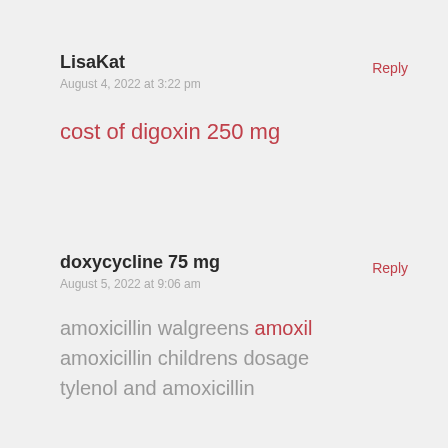LisaKat
August 4, 2022 at 3:22 pm
Reply
cost of digoxin 250 mg
doxycycline 75 mg
August 5, 2022 at 9:06 am
Reply
amoxicillin walgreens amoxil amoxicillin childrens dosage tylenol and amoxicillin